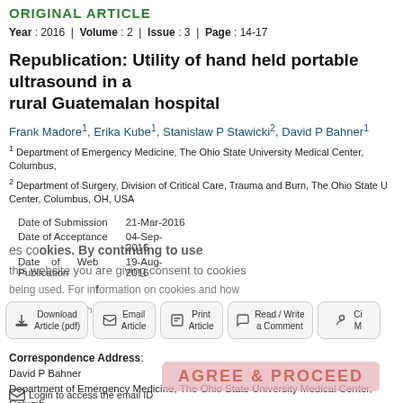ORIGINAL ARTICLE
Year : 2016 | Volume : 2 | Issue : 3 | Page : 14-17
Republication: Utility of hand held portable ultrasound in a rural Guatemalan hospital
Frank Madore1, Erika Kube1, Stanislaw P Stawicki2, David P Bahner1
1 Department of Emergency Medicine, The Ohio State University Medical Center, Columbus, OH, USA
2 Department of Surgery, Division of Critical Care, Trauma and Burn, The Ohio State University Medical Center, Columbus, OH, USA
|  |  |
| --- | --- |
| Date of Submission | 21-Mar-2016 |
| Date of Acceptance | 04-Sep-2016 |
| Date of Web Publication | 19-Aug-2016 |
Correspondence Address:
David P Bahner
Department of Emergency Medicine, The Ohio State University Medical Center, Columbus, USA
Login to access the email ID